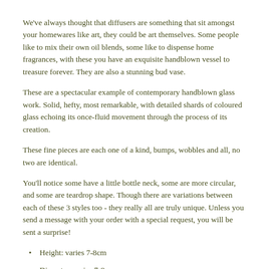We've always thought that diffusers are something that sit amongst your homewares like art, they could be art themselves. Some people like to mix their own oil blends, some like to dispense home fragrances, with these you have an exquisite handblown vessel to treasure forever. They are also a stunning bud vase.
These are a spectacular example of contemporary handblown glass work. Solid, hefty, most remarkable, with detailed shards of coloured glass echoing its once-fluid movement through the process of its creation.
These fine pieces are each one of a kind, bumps, wobbles and all, no two are identical.
You'll notice some have a little bottle neck, some are more circular, and some are teardrop shape. Though there are variations between each of these 3 styles too - they really all are truly unique. Unless you send a message with your order with a special request, you will be sent a surprise!
Height: varies 7-8cm
Diameter: varies 7-8 cm